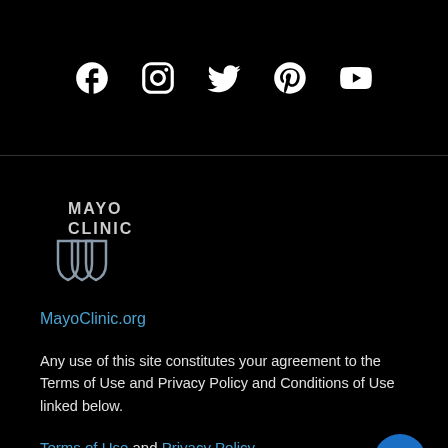[Figure (infographic): Social media icons row: Facebook, Instagram, Twitter, Pinterest, YouTube — white icons on black background]
[Figure (logo): Mayo Clinic logo with shield emblem and text MAYO CLINIC]
MayoClinic.org
Any use of this site constitutes your agreement to the Terms of Use and Privacy Policy and Conditions of Use linked below.
Terms of Use and Privacy Policy